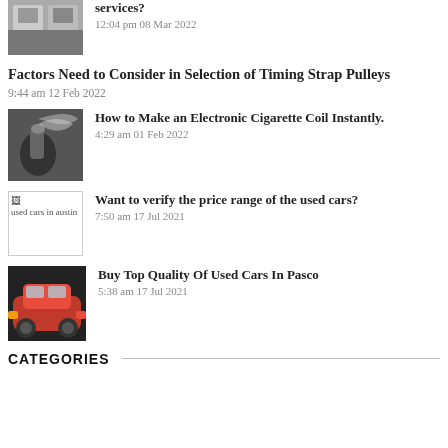[Figure (photo): Partial image of people in uniforms]
services?
12:04 pm 08 Mar 2022
Factors Need to Consider in Selection of Timing Strap Pulleys
9:44 am 12 Feb 2022
[Figure (photo): Person smoking an electronic cigarette]
How to Make an Electronic Cigarette Coil Instantly.
4:29 am 01 Feb 2022
[Figure (photo): Broken image placeholder labeled used cars in austin]
Want to verify the price range of the used cars?
7:50 am 17 Jul 2021
[Figure (photo): Red sports car]
Buy Top Quality Of Used Cars In Pasco
5:38 am 17 Jul 2021
CATEGORIES